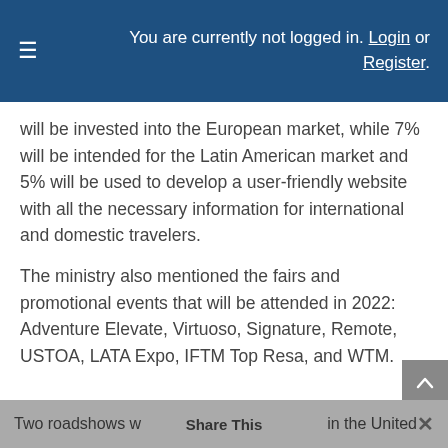You are currently not logged in. Login or Register.
will be invested into the European market, while 7% will be intended for the Latin American market and 5% will be used to develop a user-friendly website with all the necessary information for international and domestic travelers.
The ministry also mentioned the fairs and promotional events that will be attended in 2022: Adventure Elevate, Virtuoso, Signature, Remote, USTOA, LATA Expo, IFTM Top Resa, and WTM.
Two roadshows w Share This in the United ×